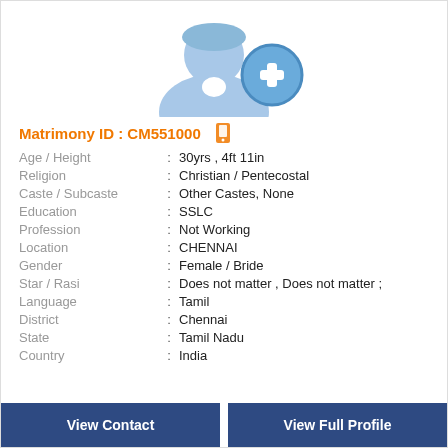[Figure (illustration): Blue silhouette of a woman with a circular blue plus icon overlay, representing a default profile photo for matrimony listing.]
Matrimony ID : CM551000
| Field | : | Value |
| --- | --- | --- |
| Age / Height | : | 30yrs , 4ft 11in |
| Religion | : | Christian / Pentecostal |
| Caste / Subcaste | : | Other Castes, None |
| Education | : | SSLC |
| Profession | : | Not Working |
| Location | : | CHENNAI |
| Gender | : | Female / Bride |
| Star / Rasi | : | Does not matter , Does not matter ; |
| Language | : | Tamil |
| District | : | Chennai |
| State | : | Tamil Nadu |
| Country | : | India |
View Contact
View Full Profile